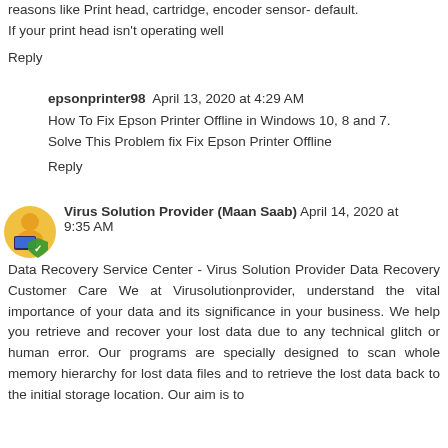reasons like Print head, cartridge, encoder sensor- default. If your print head isn't operating well
Reply
epsonprinter98  April 13, 2020 at 4:29 AM
How To Fix Epson Printer Offline in Windows 10, 8 and 7. Solve This Problem fix Fix Epson Printer Offline
Reply
[Figure (illustration): Avatar icon of a person sitting at a computer with a green shield overlay]
Virus Solution Provider (Maan Saab)  April 14, 2020 at 9:35 AM
Data Recovery Service Center - Virus Solution Provider Data Recovery Customer Care We at Virusolutionprovider, understand the vital importance of your data and its significance in your business. We help you retrieve and recover your lost data due to any technical glitch or human error. Our programs are specially designed to scan whole memory hierarchy for lost data files and to retrieve the lost data back to the initial storage location. Our aim is to